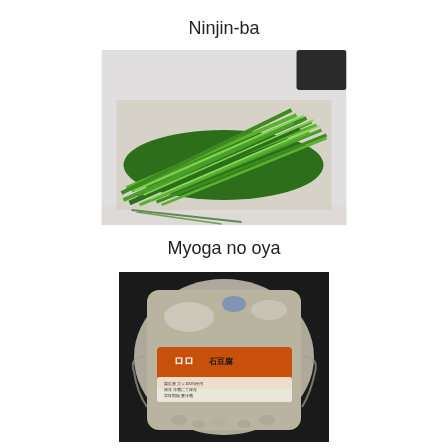Ninjin-ba
[Figure (photo): Photo of green carrot leaves (ninjin-ba) arranged on a white surface, with a dark object visible in the upper right corner.]
Myoga no oya
[Figure (photo): Photo of a packaged block of tofu (ishi-dofu / stone tofu) in clear plastic wrap with a Japanese orange and black label.]